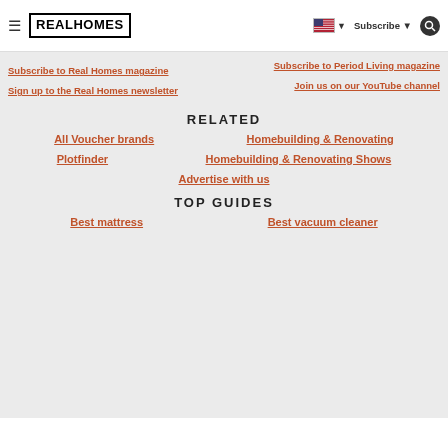Real Homes — navigation header with logo, flag, Subscribe, and search
Subscribe to Real Homes magazine
Subscribe to Period Living magazine
Sign up to the Real Homes newsletter
Join us on our YouTube channel
RELATED
All Voucher brands
Homebuilding & Renovating
Plotfinder
Homebuilding & Renovating Shows
Advertise with us
TOP GUIDES
Best mattress
Best vacuum cleaner